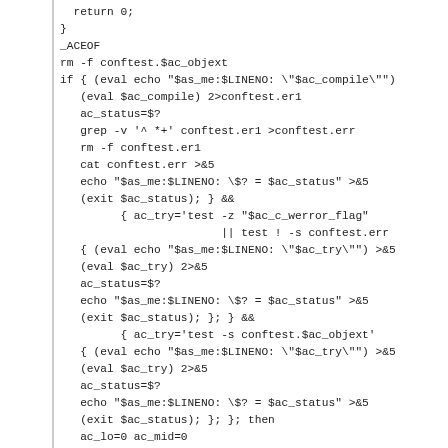return 0;
}
_ACEOF
rm -f conftest.$ac_objext
if { (eval echo "$as_me:$LINENO: \"$ac_compile\"")
   (eval $ac_compile) 2>conftest.er1
   ac_status=$?
   grep -v '^ *+' conftest.er1 >conftest.err
   rm -f conftest.er1
   cat conftest.err >&5
   echo "$as_me:$LINENO: \$? = $ac_status" >&5
   (exit $ac_status); } &&
         { ac_try='test -z "$ac_c_werror_flag"
                         || test ! -s conftest.err
   { (eval echo "$as_me:$LINENO: \"$ac_try\"") >&5
   (eval $ac_try) 2>&5
   ac_status=$?
   echo "$as_me:$LINENO: \$? = $ac_status" >&5
   (exit $ac_status); }; } &&
         { ac_try='test -s conftest.$ac_objext'
   { (eval echo "$as_me:$LINENO: \"$ac_try\"") >&5
   (eval $ac_try) 2>&5
   ac_status=$?
   echo "$as_me:$LINENO: \$? = $ac_status" >&5
   (exit $ac_status); }; }; then
   ac_lo=0 ac_mid=0
   while :; do
      cat >conftest.$ac_ext <<_ACEOF
/* confdefs.h.  */
_ACEOF
cat confdefs.h >>conftest.$ac_ext
cat >>conftest.$ac_ext <<_ACEOF
(* and confdefs.h */